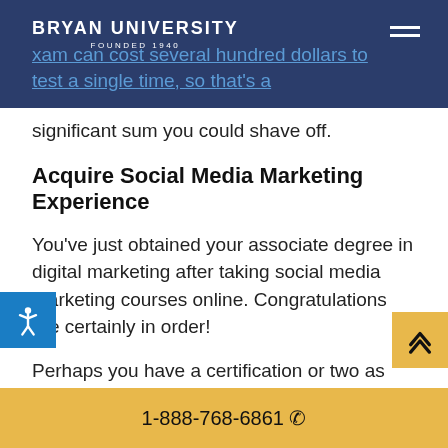BRYAN UNIVERSITY FOUNDED 1940
xam can cost several hundred dollars to test a single time, so that’s a significant sum you could shave off.
Acquire Social Media Marketing Experience
You’ve just obtained your associate degree in digital marketing after taking social media marketing courses online. Congratulations are certainly in order!
Perhaps you have a certification or two as well, which warrants more congratulations.
If you had the chance to participate in any internships or gain related experience during your
1-888-768-6861